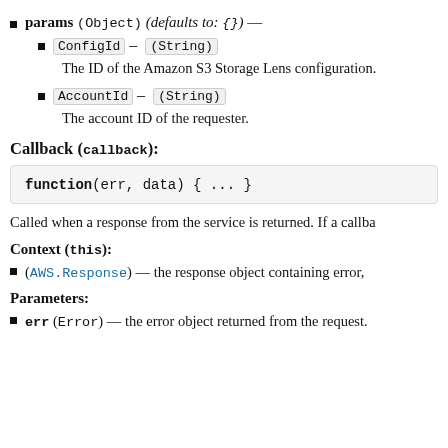params (Object) (defaults to: {}) —
ConfigId — (String)
The ID of the Amazon S3 Storage Lens configuration.
AccountId — (String)
The account ID of the requester.
Callback (callback):
function(err, data) { ... }
Called when a response from the service is returned. If a callba
Context (this):
(AWS.Response) — the response object containing error,
Parameters:
err (Error) — the error object returned from the request.